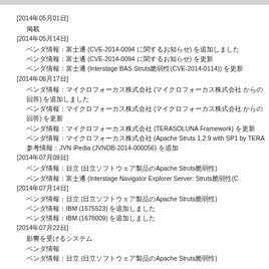[2014年05月01日]
掲載
[2014年05月14日]
ベンダ情報：富士通 (CVE-2014-0094 に関するお知らせ) を追加しました
ベンダ情報：富士通 (CVE-2014-0094 に関するお知らせ) を更新
ベンダ情報：富士通 (Interstage BAS Struts脆弱性(CVE-2014-0114)) を更新
[2014年06月17日]
ベンダ情報：マイクロフォーカス株式会社 (マイクロフォーカス株式会社 からの回答) を追加しました
ベンダ情報：マイクロフォーカス株式会社 (マイクロフォーカス株式会社 からの回答) を更新
ベンダ情報：マイクロフォーカス株式会社 (TERASOLUNA Framework) を更新
ベンダ情報：マイクロフォーカス株式会社 (Apache Struts 1.2.9 with SP1 by TERA...
参考情報：JVN iPedia (JVNDB-2014-000056) を追加
[2014年07月09日]
ベンダ情報：日立 (日立ソフトウェア製品のApache Struts脆弱性)
ベンダ情報：富士通 (Interstage Navigator Explorer Server: Struts脆弱性(C...
[2014年07月14日]
ベンダ情報：日立 (日立ソフトウェア製品のApache Struts脆弱性)
ベンダ情報：IBM (1675523) を追加しました
ベンダ情報：IBM (1678009) を追加しました
[2014年07月22日]
影響を受けるシステム
ベンダ情報
ベンダ情報：日立 (日立ソフトウェア製品のApache Struts脆弱性)